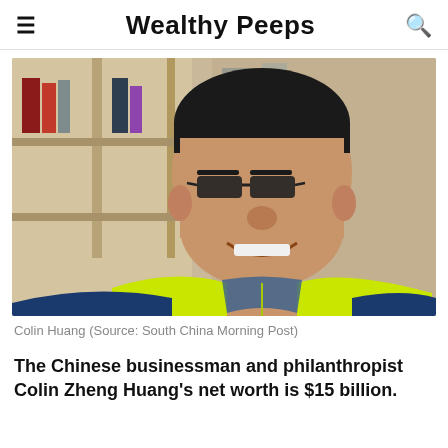Wealthy Peeps
[Figure (photo): Portrait photo of Colin Huang, a Chinese man wearing glasses, a neon yellow vest and blue jacket, smiling, with bookshelves in the background]
Colin Huang (Source: South China Morning Post)
The Chinese businessman and philanthropist Colin Zheng Huang's net worth is $15 billion.